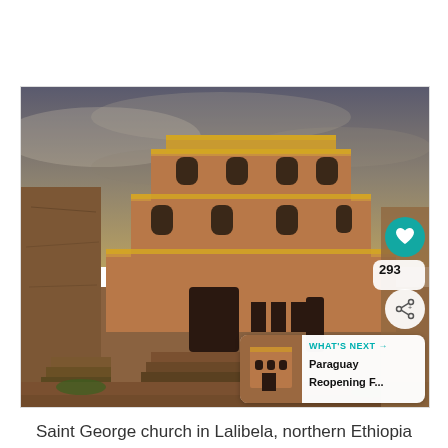[Figure (photo): Photo of Saint George church (Bete Giyorgis) in Lalibela, northern Ethiopia. A monolithic rock-hewn church with stepped pyramid exterior in orange-brown stone with yellow-green lichen accents, set into a deep pit. Dramatic cloudy sky in background. UI overlays: teal heart icon button, share button, like count '293', and 'WHAT'S NEXT' card showing Paraguay Reopening article.]
Saint George church in Lalibela, northern Ethiopia